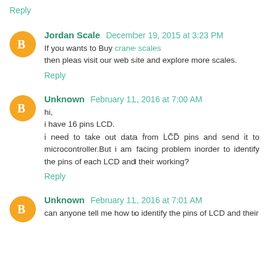Reply
Jordan Scale  December 19, 2015 at 3:23 PM
If you wants to Buy crane scales
then pleas visit our web site and explore more scales.
Reply
Unknown  February 11, 2016 at 7:00 AM
hi,
i have 16 pins LCD.
i need to take out data from LCD pins and send it to microcontroller.But i am facing problem inorder to identify the pins of each LCD and their working?
Reply
Unknown  February 11, 2016 at 7:01 AM
can anyone tell me how to identify the pins of LCD and their